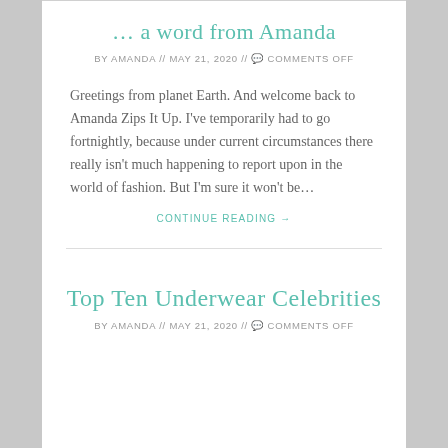… a word from Amanda
BY AMANDA // MAY 21, 2020 // 💬 COMMENTS OFF
Greetings from planet Earth. And welcome back to Amanda Zips It Up. I've temporarily had to go fortnightly, because under current circumstances there really isn't much happening to report upon in the world of fashion. But I'm sure it won't be…
CONTINUE READING →
Top Ten Underwear Celebrities
BY AMANDA // MAY 21, 2020 // 💬 COMMENTS OFF